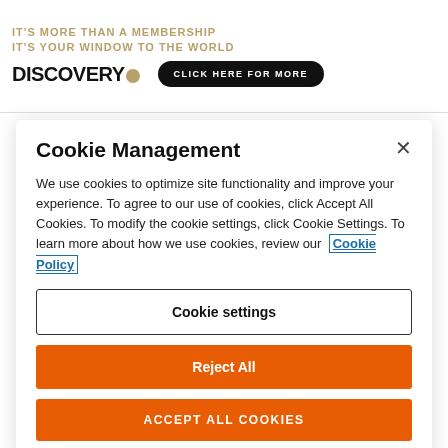[Figure (screenshot): Discovery membership banner advertisement with taglines and click button]
Cookie Management
We use cookies to optimize site functionality and improve your experience. To agree to our use of cookies, click Accept All Cookies. To modify the cookie settings, click Cookie Settings. To learn more about how we use cookies, review our Cookie Policy
Cookie settings
Reject All
ACCEPT ALL COOKIES